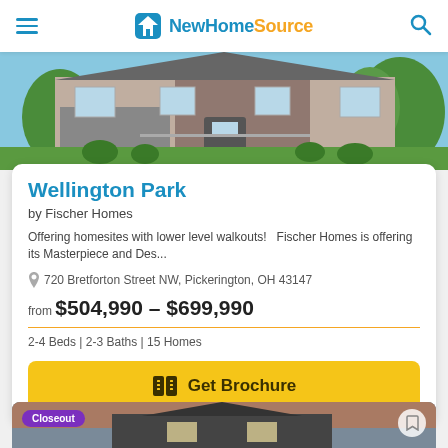NewHomeSource
[Figure (photo): Exterior photo of a stone and brick single-story home with landscaping and blue sky]
Wellington Park
by Fischer Homes
Offering homesites with lower level walkouts!   Fischer Homes is offering its Masterpiece and Des...
720 Bretforton Street NW, Pickerington, OH 43147
from $504,990 - $699,990
2-4 Beds | 2-3 Baths | 15 Homes
Get Brochure
[Figure (photo): Exterior photo of a white house at dusk with orange sky, with a Closeout badge]